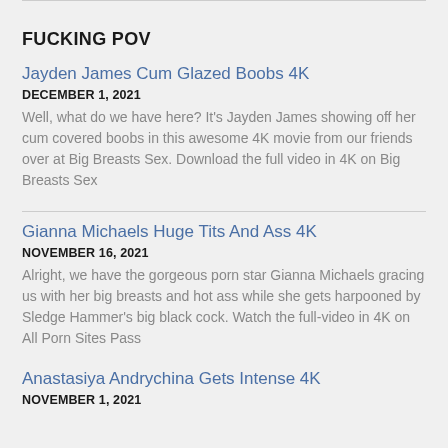FUCKING POV
Jayden James Cum Glazed Boobs 4K
DECEMBER 1, 2021
Well, what do we have here? It's Jayden James showing off her cum covered boobs in this awesome 4K movie from our friends over at Big Breasts Sex. Download the full video in 4K on Big Breasts Sex
Gianna Michaels Huge Tits And Ass 4K
NOVEMBER 16, 2021
Alright, we have the gorgeous porn star Gianna Michaels gracing us with her big breasts and hot ass while she gets harpooned by Sledge Hammer's big black cock. Watch the full-video in 4K on All Porn Sites Pass
Anastasiya Andrychina Gets Intense 4K
NOVEMBER 1, 2021